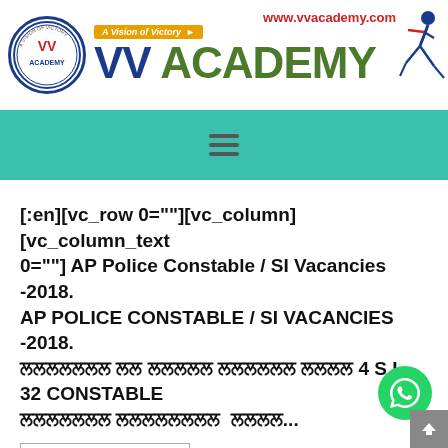[Figure (logo): VV Academy logo with circular badge, tagline 'A Vision of Victory', www.vvacademy.com URL, running figure, and large green/blue 'VV ACADEMY' text]
[Figure (other): Teal/green navigation bar with hamburger menu icon]
[:en][vc_row 0=""][vc_column][vc_column_text 0=""] AP Police Constable / SI Vacancies -2018. AP POLICE CONSTABLE / SI VACANCIES -2018. [Telugu text] 4 S.I , 32 CONSTABLE [Telugu text]...
Continue Reading >